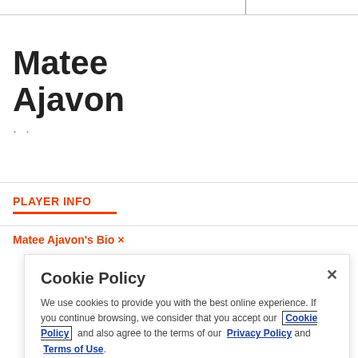Matee Ajavon
PLAYER INFO
Matee Ajavon's Bio
Cookie Policy
We use cookies to provide you with the best online experience. If you continue browsing, we consider that you accept our Cookie Policy and also agree to the terms of our Privacy Policy and Terms of Use.